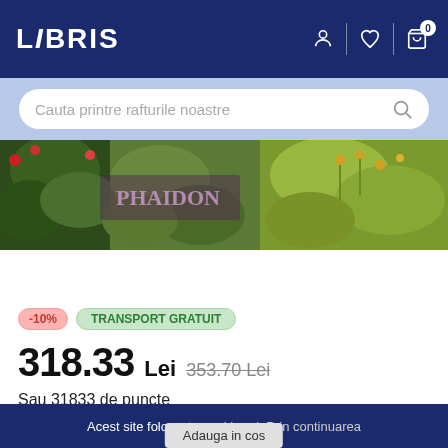LIBRIS
Cauta printre rafturile noastre
[Figure (photo): Partial book cover showing garden/herbs photography with text overlay]
-10%
TRANSPORT GRATUIT
318.33 Lei  353.70 Lei
Sau 31833 de puncte
Livrare in 2-4 saptamani
Acest site foloseste cookie-uri. Prin continuarea